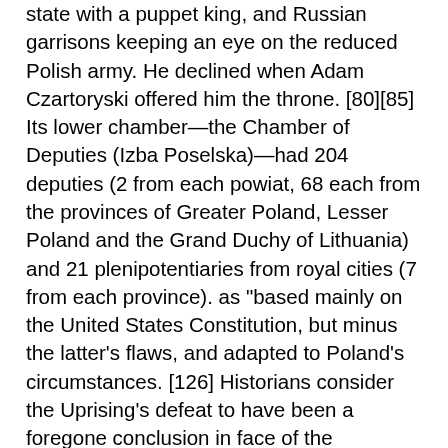state with a puppet king, and Russian garrisons keeping an eye on the reduced Polish army. He declined when Adam Czartoryski offered him the throne. [80][85] Its lower chamber—the Chamber of Deputies (Izba Poselska)—had 204 deputies (2 from each powiat, 68 each from the provinces of Greater Poland, Lesser Poland and the Grand Duchy of Lithuania) and 21 plenipotentiaries from royal cities (7 from each province). as "based mainly on the United States Constitution, but minus the latter's flaws, and adapted to Poland's circumstances. [126] Historians consider the Uprising's defeat to have been a foregone conclusion in face of the superiority in numbers and resources of the three invading powers. they placed the french catholic church under state control. [6][80], Article VI recognized the Prawo o sejmikach, the act on regional assemblies (sejmiks) passed on 24 March 1791. [106] The Constitution called for the preparation of a new civil and criminal code, tentatively called the Stanisław August Code. [46][57][58] Concurrent world events appeared to have been